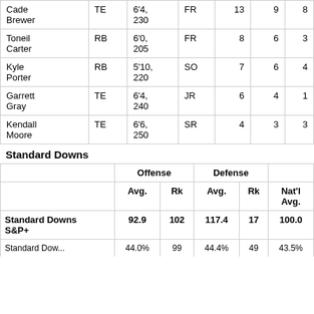| Name | Pos | Ht/Wt | Yr |  |  |  |
| --- | --- | --- | --- | --- | --- | --- |
| Cade Brewer | TE | 6'4, 230 | FR | 13 | 9 | 8 |
| Toneil Carter | RB | 6'0, 205 | FR | 8 | 6 | 3 |
| Kyle Porter | RB | 5'10, 220 | SO | 7 | 6 | 4 |
| Garrett Gray | TE | 6'4, 240 | JR | 6 | 4 | 1 |
| Kendall Moore | TE | 6'6, 250 | SR | 4 | 3 | 3 |
Standard Downs
|  | Offense Avg. | Offense Rk | Defense Avg. | Defense Rk | Nat'l Avg. |
| --- | --- | --- | --- | --- | --- |
| Standard Downs S&P+ | 92.9 | 102 | 117.4 | 17 | 100.0 |
| Standard Downs ... | 44.0% | 99 | 44.4% | 49 | 43.5% |